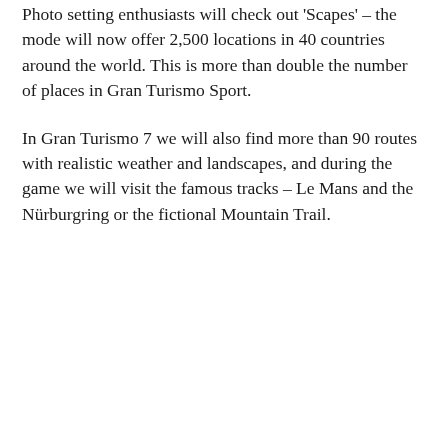Photo setting enthusiasts will check out 'Scapes' – the mode will now offer 2,500 locations in 40 countries around the world. This is more than double the number of places in Gran Turismo Sport.
In Gran Turismo 7 we will also find more than 90 routes with realistic weather and landscapes, and during the game we will visit the famous tracks – Le Mans and the Nürburgring or the fictional Mountain Trail.